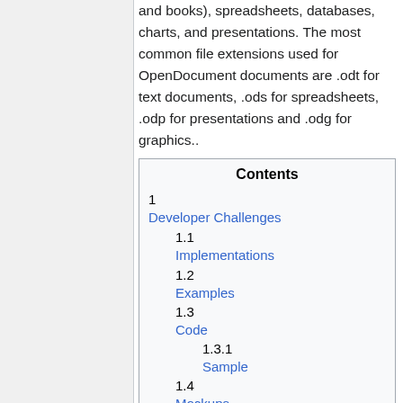and books), spreadsheets, databases, charts, and presentations. The most common file extensions used for OpenDocument documents are .odt for text documents, .ods for spreadsheets, .odp for presentations and .odg for graphics..
| Contents |
| --- |
| 1 Developer Challenges |
| 1.1 Implementations |
| 1.2 Examples |
| 1.3 Code |
| 1.3.1 Sample |
| 1.4 Mockups |
| 1.5 TODO |
| 1.6 Reference |
Developer Challenges
Develop software that embeds and can